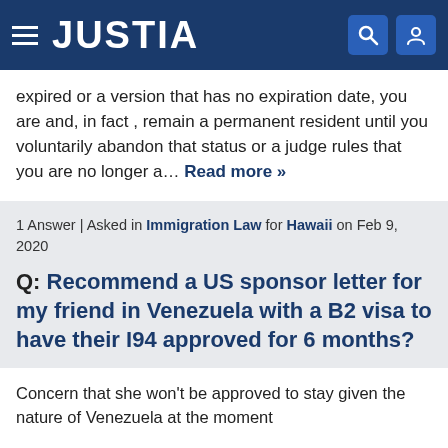JUSTIA
expired or a version that has no expiration date, you are and, in fact , remain a permanent resident until you voluntarily abandon that status or a judge rules that you are no longer a… Read more »
1 Answer | Asked in Immigration Law for Hawaii on Feb 9, 2020
Q: Recommend a US sponsor letter for my friend in Venezuela with a B2 visa to have their I94 approved for 6 months?
Concern that she won't be approved to stay given the nature of Venezuela at the moment